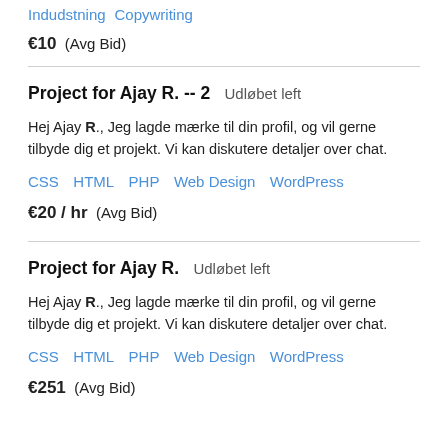Indudstning  Copywriting
€10  (Avg Bid)
Project for Ajay R. -- 2  Udløbet left
Hej Ajay R., Jeg lagde mærke til din profil, og vil gerne tilbyde dig et projekt. Vi kan diskutere detaljer over chat.
CSS  HTML  PHP  Web Design  WordPress
€20 / hr  (Avg Bid)
Project for Ajay R.  Udløbet left
Hej Ajay R., Jeg lagde mærke til din profil, og vil gerne tilbyde dig et projekt. Vi kan diskutere detaljer over chat.
CSS  HTML  PHP  Web Design  WordPress
€251  (Avg Bid)